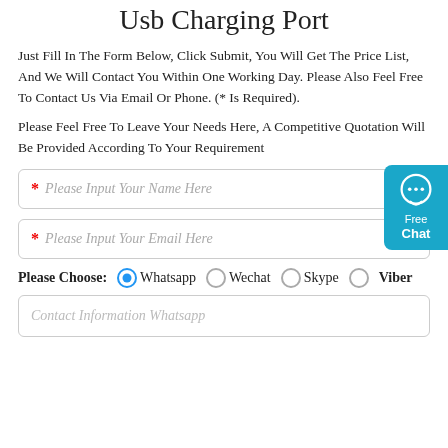Usb Charging Port
Just Fill In The Form Below, Click Submit, You Will Get The Price List, And We Will Contact You Within One Working Day. Please Also Feel Free To Contact Us Via Email Or Phone. (* Is Required).
Please Feel Free To Leave Your Needs Here, A Competitive Quotation Will Be Provided According To Your Requirement
* Please Input Your Name Here
* Please Input Your Email Here
Please Choose: ●Whatsapp ○Wechat ○Skype ○ Viber
Contact Information Whatsapp